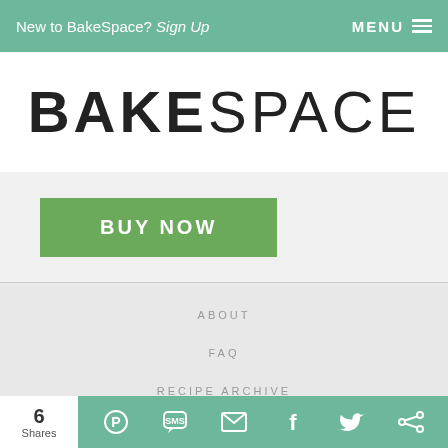New to BakeSpace? Sign Up   MENU ☰
BAKESPACE
BUY NOW
ABOUT
FAQ
RECIPE ARCHIVE
6 Shares  [Pinterest] [SMS] [Email] [Facebook] [Twitter] [Other]